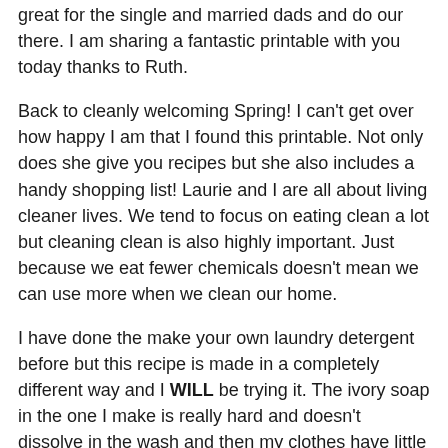great for the single and married dads and do our there. I am sharing a fantastic printable with you today thanks to Ruth.
Back to cleanly welcoming Spring! I can't get over how happy I am that I found this printable. Not only does she give you recipes but she also includes a handy shopping list! Laurie and I are all about living cleaner lives. We tend to focus on eating clean a lot but cleaning clean is also highly important. Just because we eat fewer chemicals doesn't mean we can use more when we clean our home.
I have done the make your own laundry detergent before but this recipe is made in a completely different way and I WILL be trying it. The ivory soap in the one I make is really hard and doesn't dissolve in the wash and then my clothes have little pieces of soap melted on them thanks to our dryer that reaches scorching temperatures (someone, anyone, send me a new dryer -- I can't complain, ours is free). Also super excited to use the glass and surface cleaner recipe. And the toilet bowl cleaner...it sounds kind of fun. I'm not going to lie.
Keep in mind, spring cleaners, as you finish off your store